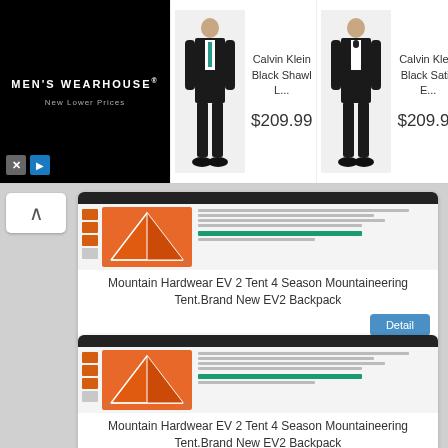[Figure (screenshot): Men's Wearhouse advertisement banner with black logo on left, two Calvin Klein tuxedo products with prices $209.99 each]
[Figure (screenshot): Screenshot of e-commerce listing for Mountain Hardwear EV 2 Tent showing orange tent image]
Mountain Hardwear EV 2 Tent 4 Season Mountaineering Tent.Brand New EV2 Backpack
[Figure (screenshot): Screenshot of e-commerce listing for Mountain Hardwear EV 2 Tent showing orange tent image (duplicate)]
Mountain Hardwear EV 2 Tent 4 Season Mountaineering Tent.Brand New EV2 Backpack